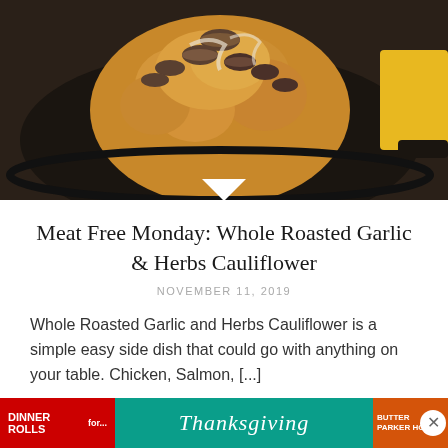[Figure (photo): Whole roasted cauliflower with mushrooms in a cast iron skillet, photographed from above on a dark background with a yellow cloth visible at edge]
Meat Free Monday: Whole Roasted Garlic & Herbs Cauliflower
NOVEMBER 11, 2019
Whole Roasted Garlic and Herbs Cauliflower is a simple easy side dish that could go with anything on your table. Chicken, Salmon, [...]
[Figure (screenshot): Thanksgiving promotional ad banner with Dinner Rolls text on red background, Thanksgiving script text on teal background, orange section, and close button]
Advertisements
[Figure (screenshot): Seamless food delivery advertisement with pizza image, Seamless logo in red, and ORDER NOW button]